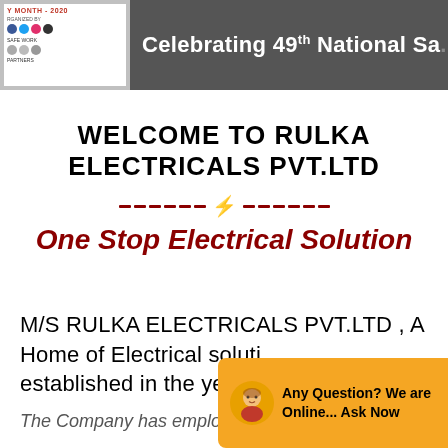[Figure (screenshot): Gray header banner with a small white panel on the left containing red text and social media icons, and white text on right reading 'Celebrating 49th National Sa...']
WELCOME TO RULKA ELECTRICALS PVT.LTD
[Figure (illustration): Decorative divider with dark red dashes and a lightning bolt icon in the center]
One Stop Electrical Solution
M/S RULKA ELECTRICALS PVT.LTD , A Home of Electrical soluti... established in the yea...
The Company has employee...
[Figure (illustration): Orange chat widget in bottom right corner with avatar and text 'Any Question? We are Online... Ask Now']